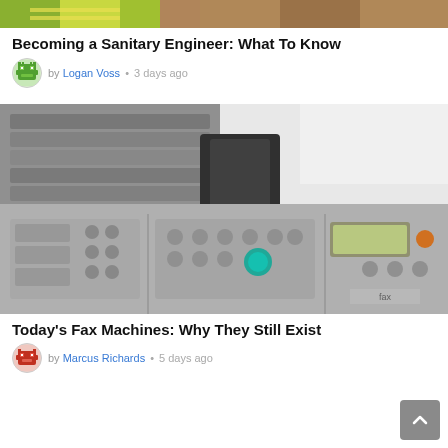[Figure (photo): Partial top of image showing person in high-visibility yellow jacket, outdoor scene]
Becoming a Sanitary Engineer: What To Know
by Logan Voss • 3 days ago
[Figure (photo): Close-up photo of a fax machine showing buttons, keypad, and a teal/turquoise button, with paper tray visible]
Today's Fax Machines: Why They Still Exist
by Marcus Richards • 5 days ago